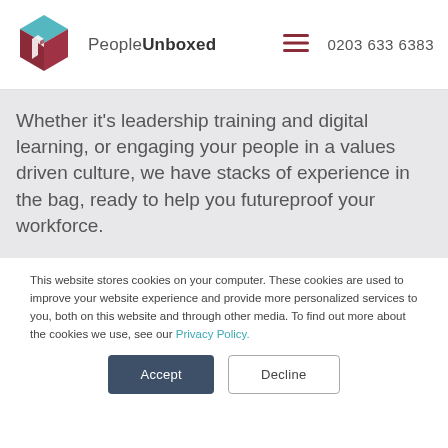[Figure (logo): PeopleUnboxed logo: a 3D cube shape with teal top and dark red sides with a white diamond 'P' shape, followed by the text 'PeopleUnboxed']
0203 633 6383
Whether it's leadership training and digital learning, or engaging your people in a values driven culture, we have stacks of experience in the bag, ready to help you futureproof your workforce.
This website stores cookies on your computer. These cookies are used to improve your website experience and provide more personalized services to you, both on this website and through other media. To find out more about the cookies we use, see our Privacy Policy.